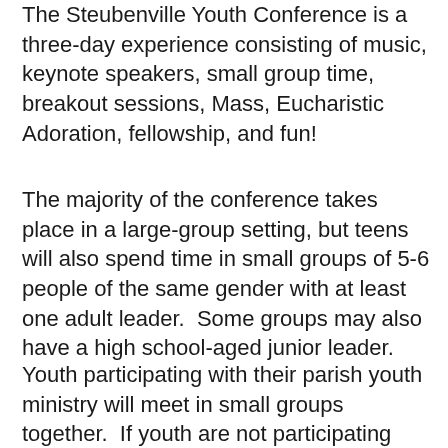The Steubenville Youth Conference is a three-day experience consisting of music, keynote speakers, small group time, breakout sessions, Mass, Eucharistic Adoration, fellowship, and fun!
The majority of the conference takes place in a large-group setting, but teens will also spend time in small groups of 5-6 people of the same gender with at least one adult leader. Some groups may also have a high school-aged junior leader.
Youth participating with their parish youth ministry will meet in small groups together. If youth are not participating with a parish, they will be placed in a small